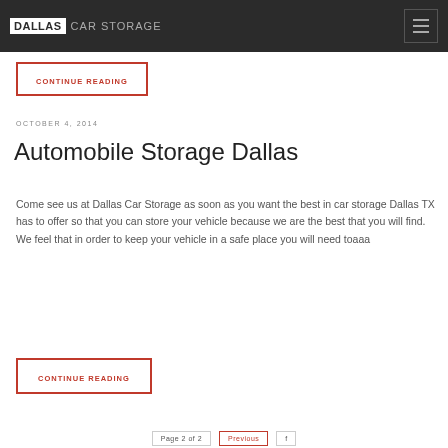DALLAS CAR STORAGE
CONTINUE READING
OCTOBER 4, 2014
Automobile Storage Dallas
Come see us at Dallas Car Storage as soon as you want the best in car storage Dallas TX has to offer so that you can store your vehicle because we are the best that you will find. We feel that in order to keep your vehicle in a safe place you will need toaaa
CONTINUE READING
Page 2 of 2   Previous   f